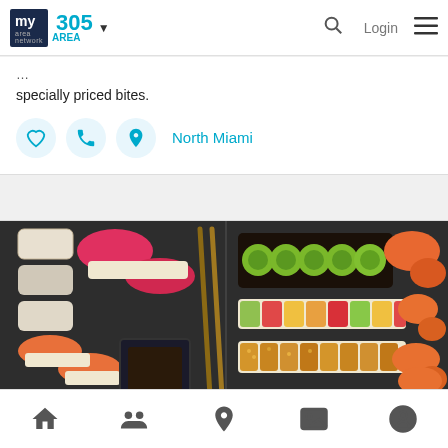my area network | 305 AREA | Login
specially priced bites.
[Figure (other): Icon row with heart, phone, and location pin icons in light blue circles, followed by 'North Miami' text link]
[Figure (photo): Overhead photo of assorted sushi including nigiri, maki rolls with green avocado topping, colorful rainbow rolls, and tempura rolls arranged on dark slate]
Katsuya Brickell
Restaurant
8 SE 8th St, Miami FL, 33131
Home | People | Location | Gallery | Profile